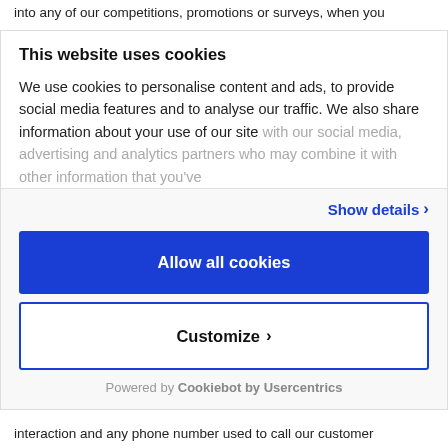into any of our competitions, promotions or surveys, when you
This website uses cookies
We use cookies to personalise content and ads, to provide social media features and to analyse our traffic. We also share information about your use of our site with our social media, advertising and analytics partners who may combine it with other information that you've
Show details ›
Allow all cookies
Customize ›
Powered by Cookiebot by Usercentrics
interaction and any phone number used to call our customer